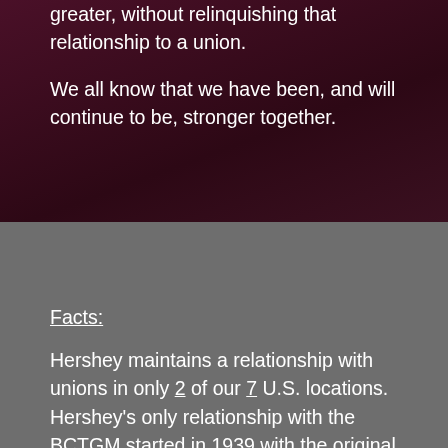greater, without relinquishing that relationship to a union.
We all know that we have been, and will continue to be, stronger together.
Facts:
Hershey maintains a relationship with unions in only 2 of our 7 U.S. locations. Hershey's only relationship with the BCTGM started in 1939 with the original plant at 19 East and